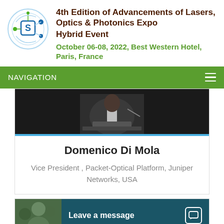[Figure (logo): Conference/organization logo - circular design with S letter and network nodes]
4th Edition of Advancements of Lasers, Optics & Photonics Expo Hybrid Event
October 06-08, 2022, Best Western Hotel, Paris, France
NAVIGATION
[Figure (photo): Speaker photo - person at podium/lectern in dark jacket]
Domenico Di Mola
Vice President , Packet-Optical Platform, Juniper Networks, USA
[Figure (photo): Partial speaker photo at bottom, with Leave a message chat overlay]